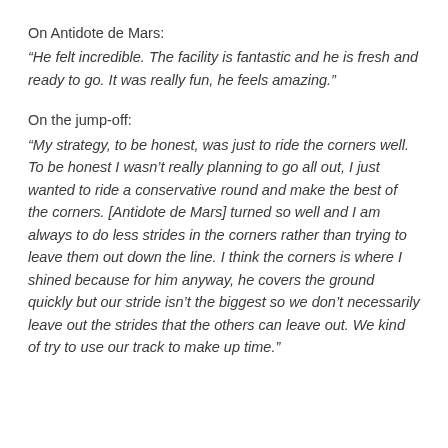On Antidote de Mars:
“He felt incredible. The facility is fantastic and he is fresh and ready to go. It was really fun, he feels amazing.”
On the jump-off:
“My strategy, to be honest, was just to ride the corners well. To be honest I wasn’t really planning to go all out, I just wanted to ride a conservative round and make the best of the corners. [Antidote de Mars] turned so well and I am always to do less strides in the corners rather than trying to leave them out down the line. I think the corners is where I shined because for him anyway, he covers the ground quickly but our stride isn’t the biggest so we don’t necessarily leave out the strides that the others can leave out. We kind of try to use our track to make up time.”